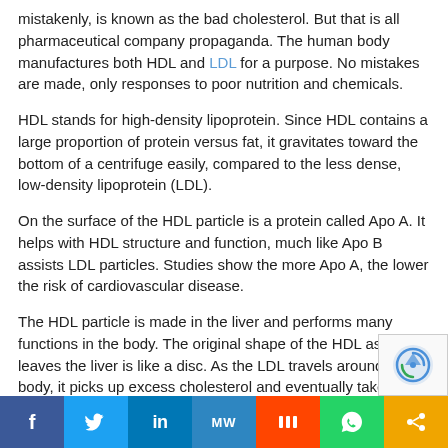mistakenly, is known as the bad cholesterol. But that is all pharmaceutical company propaganda. The human body manufactures both HDL and LDL for a purpose. No mistakes are made, only responses to poor nutrition and chemicals.
HDL stands for high-density lipoprotein. Since HDL contains a large proportion of protein versus fat, it gravitates toward the bottom of a centrifuge easily, compared to the less dense, low-density lipoprotein (LDL).
On the surface of the HDL particle is a protein called Apo A. It helps with HDL structure and function, much like Apo B assists LDL particles. Studies show the more Apo A, the lower the risk of cardiovascular disease.
The HDL particle is made in the liver and performs many functions in the body. The original shape of the HDL as it leaves the liver is like a disc. As the LDL travels around the body, it picks up excess cholesterol and eventually takes on a spherical shape.
HDL acts as a scavenger and picks up cholesterol from
[Figure (other): Social sharing bar with icons for Facebook, Twitter, LinkedIn, MeWe, Mix, WhatsApp, and a share button]